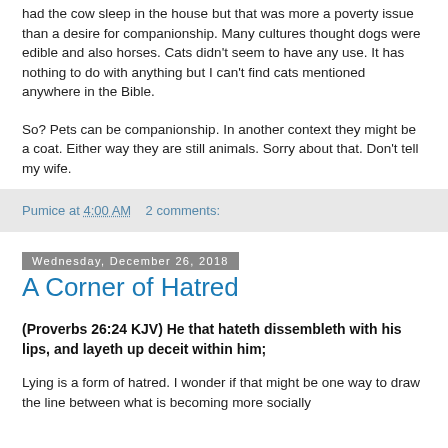had the cow sleep in the house but that was more a poverty issue than a desire for companionship.  Many cultures thought dogs were edible and also horses.  Cats didn't seem to have any use.  It has nothing to do with anything but I can't find cats mentioned anywhere in the Bible.
So?  Pets can be companionship.  In another context they might be a coat.  Either way they are still animals.  Sorry about that.  Don’t tell my wife.
Pumice at 4:00 AM    2 comments:
Wednesday, December 26, 2018
A Corner of Hatred
(Proverbs 26:24 KJV)  He that hateth dissembleth with his lips, and layeth up deceit within him;
Lying is a form of hatred.  I wonder if that might be one way to draw the line between what is becoming more socially